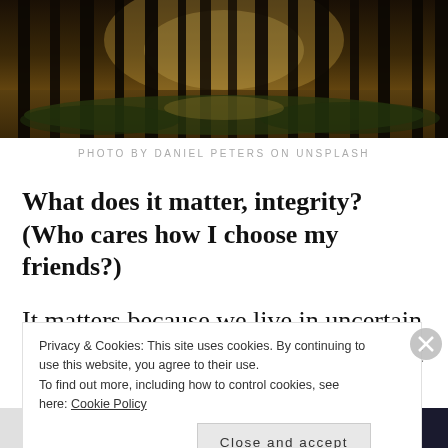[Figure (photo): Photograph of a forest with tall dark tree trunks, sunlight filtering through from the background, creating warm golden tones on the forest floor]
PHOTO BY DANIEL PETERS ON UNSPLASH
What does it matter, integrity? (Who cares how I choose my friends?)
It matters because we live in uncertain times. I’m going to go not-very-far-out on a limb and say that
Privacy & Cookies: This site uses cookies. By continuing to use this website, you agree to their use.
To find out more, including how to control cookies, see here: Cookie Policy
Close and accept